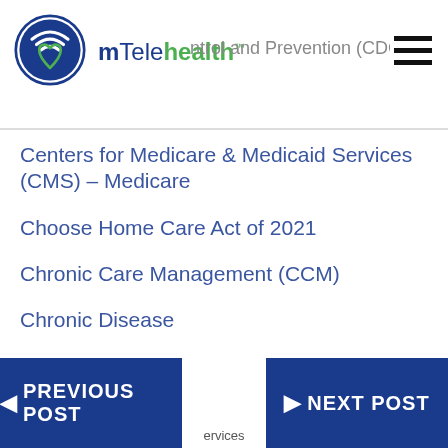mTelehealth — Centers for Disease Control and Prevention (CDC)
Centers for Medicare & Medicaid Services (CMS) – Medicare
Choose Home Care Act of 2021
Chronic Care Management (CCM)
Chronic Disease
Chronic Obstructive Pulmonary Disease (COPD)
CMS Flexibilities to Fight COVID-19
CONNECT Act
PREVIOUS POST | NEXT POST